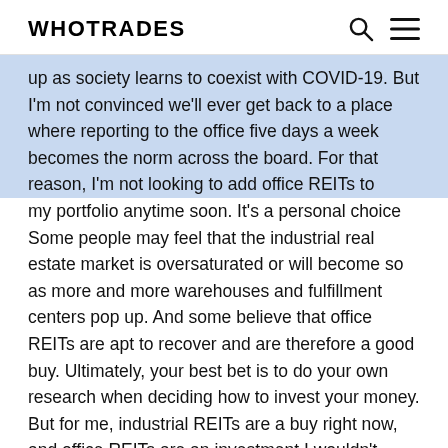WHOTRADES
up as society learns to coexist with COVID-19. But I'm not convinced we'll ever get back to a place where reporting to the office five days a week becomes the norm across the board. For that reason, I'm not looking to add office REITs to my portfolio anytime soon. It's a personal choice Some people may feel that the industrial real estate market is oversaturated or will become so as more and more warehouses and fulfillment centers pop up. And some believe that office REITs are apt to recover and are therefore a good buy. Ultimately, your best bet is to do your own research when deciding how to invest your money. But for me, industrial REITs are a buy right now, and office REITs are an investment I wouldn't touch with a 10-foot pole. 10 stocks we like better than Walmart When our award-winning analyst team has an investing tip, it can pay to listen. After all, the newsletter they have run for over a decade, Motley Fool